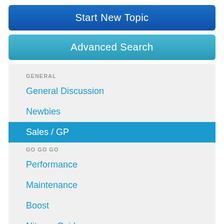Start New Topic
Advanced Search
GENERAL
General Discussion
Newbies
Sales / GP
GO GO GO
Performance
Maintenance
Boost
Nitrous Oxide
Tuning
Transmission
Suspension
Racing